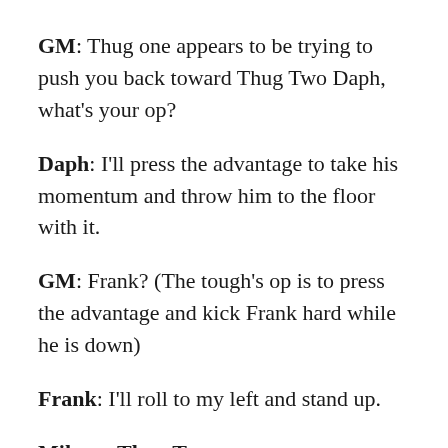GM: Thug one appears to be trying to push you back toward Thug Two Daph, what's your op?
Daph: I'll press the advantage to take his momentum and throw him to the floor with it.
GM: Frank? (The tough's op is to press the advantage and kick Frank hard while he is down)
Frank: I'll roll to my left and stand up.
Mike vs Thug Two
Thug Two: (aptitude loss from injury, -1)
Failure